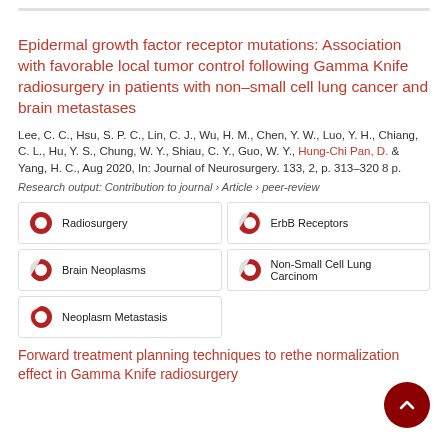Epidermal growth factor receptor mutations: Association with favorable local tumor control following Gamma Knife radiosurgery in patients with non–small cell lung cancer and brain metastases
Lee, C. C., Hsu, S. P. C., Lin, C. J., Wu, H. M., Chen, Y. W., Luo, Y. H., Chiang, C. L., Hu, Y. S., Chung, W. Y., Shiau, C. Y., Guo, W. Y., Hung-Chi Pan, D. & Yang, H. C., Aug 2020, In: Journal of Neurosurgery. 133, 2, p. 313–320 8 p.
Research output: Contribution to journal › Article › peer-review
[Figure (infographic): Five keyword badges with donut/pie chart icons indicating relevance percentages: Radiosurgery (100%), ErbB Receptors (high %), Brain Neoplasms (high %), Non-Small Cell Lung Carcinoma (high %), Neoplasm Metastasis (~55%)]
Forward treatment planning techniques to reduce the normalization effect in Gamma Knife radiosurgery